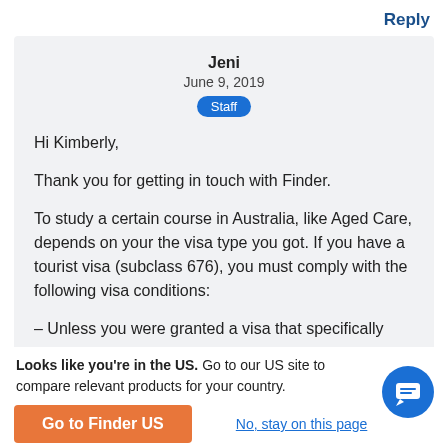Reply
Jeni
June 9, 2019
Staff
Hi Kimberly,

Thank you for getting in touch with Finder.

To study a certain course in Australia, like Aged Care, depends on your the visa type you got. If you have a tourist visa (subclass 676), you must comply with the following visa conditions:
– Unless you were granted a visa that specifically
Looks like you're in the US. Go to our US site to compare relevant products for your country.
Go to Finder US
No, stay on this page